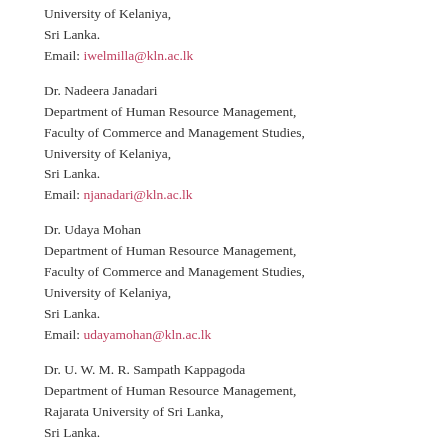University of Kelaniya,
Sri Lanka.
Email: iwelmilla@kln.ac.lk
Dr. Nadeera Janadari
Department of Human Resource Management,
Faculty of Commerce and Management Studies,
University of Kelaniya,
Sri Lanka.
Email: njanadari@kln.ac.lk
Dr. Udaya Mohan
Department of Human Resource Management,
Faculty of Commerce and Management Studies,
University of Kelaniya,
Sri Lanka.
Email: udayamohan@kln.ac.lk
Dr. U. W. M. R. Sampath Kappagoda
Department of Human Resource Management,
Rajarata University of Sri Lanka,
Sri Lanka.
Email: sampathkappagoda@gmail.com
Dr. Saroja Wanigasekara
Department of Human Resource Management,